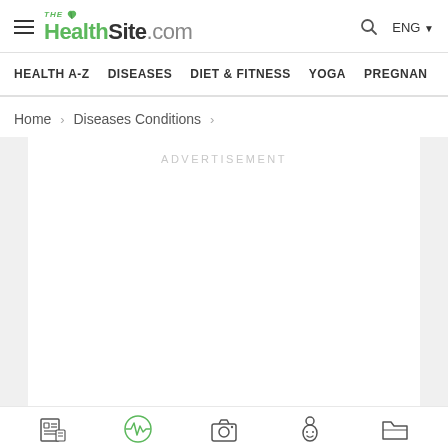THE HealthSite.com — ENG
HEALTH A-Z   DISEASES   DIET & FITNESS   YOGA   PREGNAN...
Home › Diseases Conditions ›
[Figure (other): Advertisement placeholder box — large white rectangle on gray background with 'ADVERTISEMENT' label in light gray uppercase letters]
[Figure (other): Bottom icon bar showing five icons: a news/article icon, a heartbeat/health icon (green), a camera icon, a baby/pregnancy icon, and a folder/document icon]